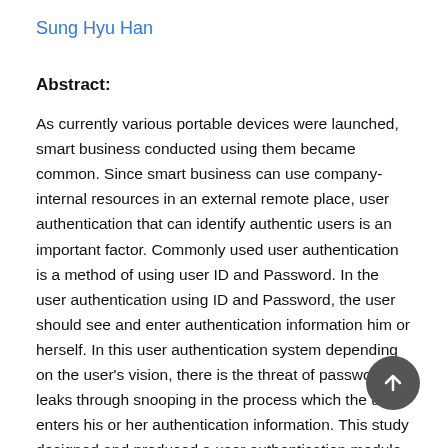Sung Hyu Han
Abstract:
As currently various portable devices were launched, smart business conducted using them became common. Since smart business can use company-internal resources in an external remote place, user authentication that can identify authentic users is an important factor. Commonly used user authentication is a method of using user ID and Password. In the user authentication using ID and Password, the user should see and enter authentication information him or herself. In this user authentication system depending on the user's vision, there is the threat of password leaks through snooping in the process which the user enters his or her authentication information. This study designed and produced a user authentication module using an actuator to respond to the snooping